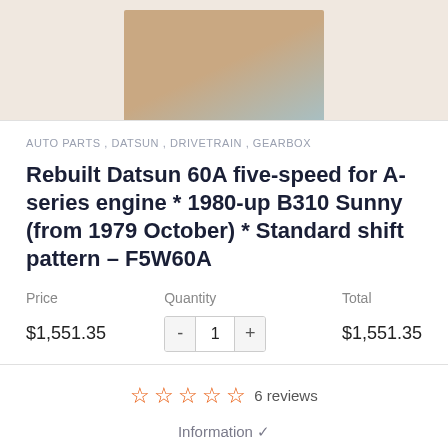[Figure (photo): Product photo of a Datsun gearbox/transmission unit, partially shown, warm beige/tan tones with dark background]
AUTO PARTS , DATSUN , DRIVETRAIN , GEARBOX
Rebuilt Datsun 60A five-speed for A-series engine * 1980-up B310 Sunny (from 1979 October) * Standard shift pattern – F5W60A
| Price | Quantity | Total |
| --- | --- | --- |
| $1,551.35 | 1 | $1,551.35 |
6 reviews
Information ✓
ADD TO CART